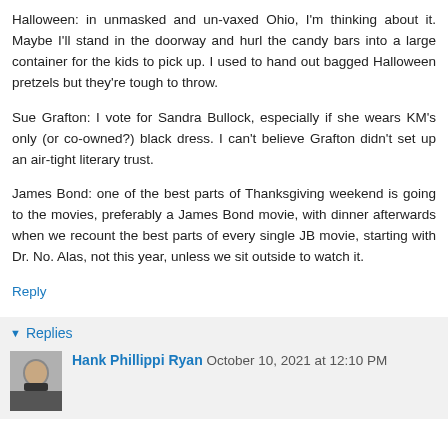Halloween: in unmasked and un-vaxed Ohio, I'm thinking about it. Maybe I'll stand in the doorway and hurl the candy bars into a large container for the kids to pick up. I used to hand out bagged Halloween pretzels but they're tough to throw.
Sue Grafton: I vote for Sandra Bullock, especially if she wears KM's only (or co-owned?) black dress. I can't believe Grafton didn't set up an air-tight literary trust.
James Bond: one of the best parts of Thanksgiving weekend is going to the movies, preferably a James Bond movie, with dinner afterwards when we recount the best parts of every single JB movie, starting with Dr. No. Alas, not this year, unless we sit outside to watch it.
Reply
Replies
Hank Phillippi Ryan October 10, 2021 at 12:10 PM